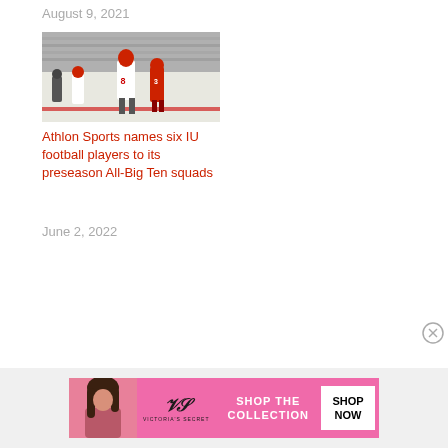August 9, 2021
[Figure (photo): Football players in red and white uniforms on a stadium field]
Athlon Sports names six IU football players to its preseason All-Big Ten squads
June 2, 2022
[Figure (photo): Victoria's Secret advertisement banner with woman, VS logo, 'SHOP THE COLLECTION' text, and 'SHOP NOW' button on pink background]